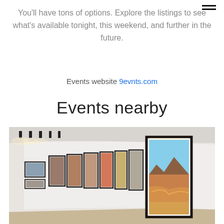You'll have tons of options. Explore the listings to see what's available tonight, this weekend, and further in the future.
Events website 9evnts.com
Events nearby
[Figure (photo): Interior of an art gallery with curved white walls lined with framed landscape photographs under track lighting. A large framed desert landscape photo is prominently displayed on the right.]